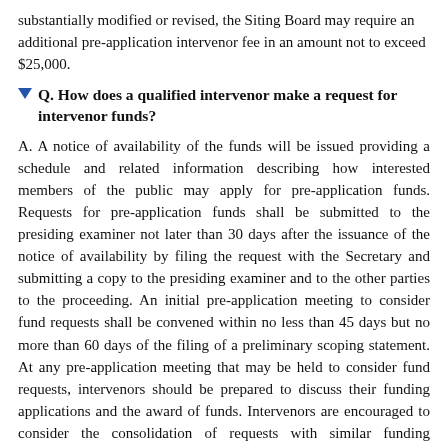substantially modified or revised, the Siting Board may require an additional pre-application intervenor fee in an amount not to exceed $25,000.
Q. How does a qualified intervenor make a request for intervenor funds?
A. A notice of availability of the funds will be issued providing a schedule and related information describing how interested members of the public may apply for pre-application funds. Requests for pre-application funds shall be submitted to the presiding examiner not later than 30 days after the issuance of the notice of availability by filing the request with the Secretary and submitting a copy to the presiding examiner and to the other parties to the proceeding. An initial pre-application meeting to consider fund requests shall be convened within no less than 45 days but no more than 60 days of the filing of a preliminary scoping statement. At any pre-application meeting that may be held to consider fund requests, intervenors should be prepared to discuss their funding applications and the award of funds. Intervenors are encouraged to consider the consolidation of requests with similar funding proposals of other intervenors.
Q. When are pre-application intervenor funds awarded?
Q. Who is eligible for intervenor funds?